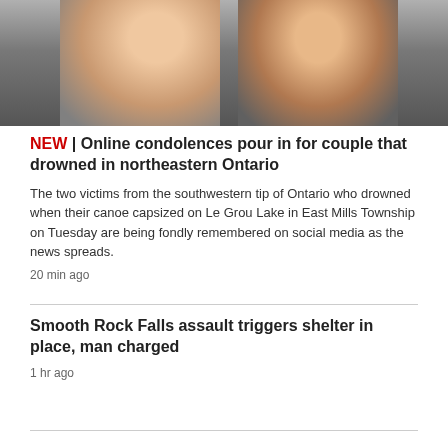[Figure (photo): Photo of a smiling young woman and young man, appearing to be a couple, shown from the shoulders up against a dark background.]
NEW | Online condolences pour in for couple that drowned in northeastern Ontario
The two victims from the southwestern tip of Ontario who drowned when their canoe capsized on Le Grou Lake in East Mills Township on Tuesday are being fondly remembered on social media as the news spreads.
20 min ago
Smooth Rock Falls assault triggers shelter in place, man charged
1 hr ago